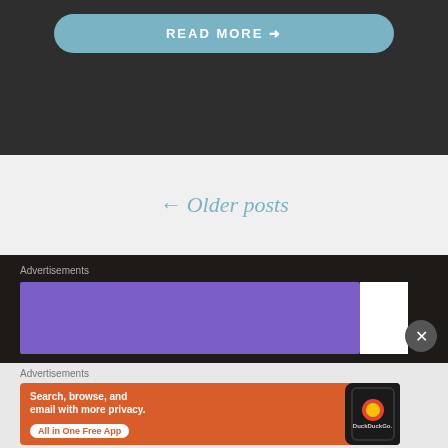READ MORE →
← Older posts
Advertisements
[Figure (other): Purple advertisement banner with white corner section and close button]
Advertisements
[Figure (other): DuckDuckGo advertisement: Search, browse, and email with more privacy. All in One Free App. Shows DuckDuckGo logo on a phone mockup.]